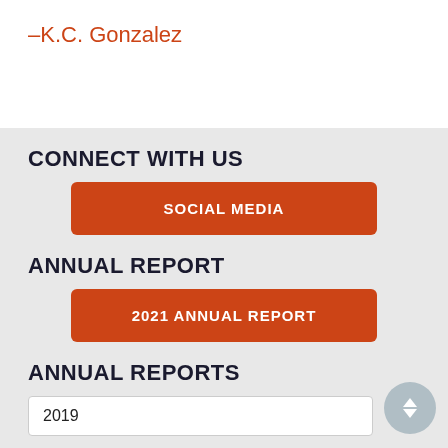–K.C. Gonzalez
CONNECT WITH US
SOCIAL MEDIA
ANNUAL REPORT
2021 ANNUAL REPORT
ANNUAL REPORTS
2019